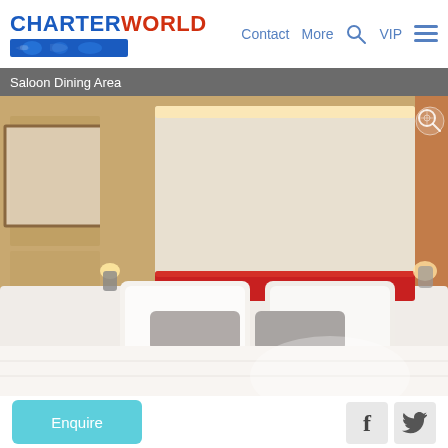CHARTERWORLD  Contact  More  VIP
Saloon Dining Area
[Figure (photo): Interior of a luxury yacht cabin/stateroom showing a double bed with white bedding and a red headboard, warm wood paneling walls, LED strip lighting along the ceiling, and wall-mounted reading lamps.]
Enquire
f  [twitter bird icon]